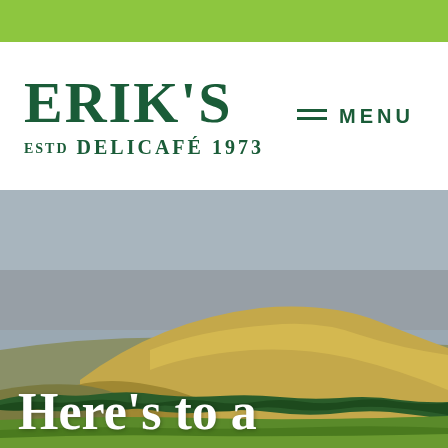[Figure (other): Green decorative bar at the top of the page]
ERIK'S ESTD DELICAFÉ 1973
MENU
[Figure (photo): Landscape photo of rolling green and golden hills under a grey-blue sky, with trees along the base of the hills and green fields in the foreground]
Here's to a